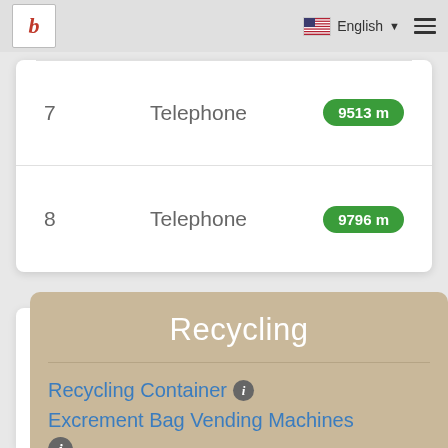b | English ☰
| # | Type | Distance |
| --- | --- | --- |
| 7 | Telephone | 9513 m |
| 8 | Telephone | 9796 m |
Recycling
Recycling Container ℹ
Excrement Bag Vending Machines ℹ